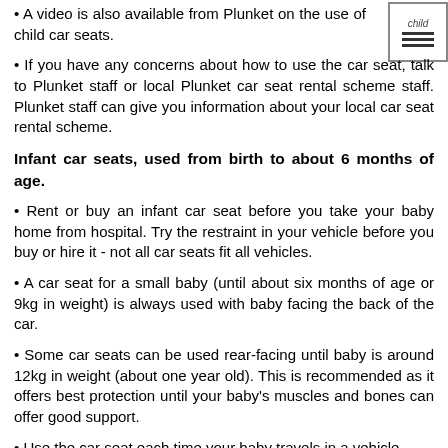• A video is also available from Plunket on the use of child car seats.
• If you have any concerns about how to use the car seat, talk to Plunket staff or local Plunket car seat rental scheme staff. Plunket staff can give you information about your local car seat rental scheme.
Infant car seats, used from birth to about 6 months of age.
• Rent or buy an infant car seat before you take your baby home from hospital. Try the restraint in your vehicle before you buy or hire it - not all car seats fit all vehicles.
• A car seat for a small baby (until about six months of age or 9kg in weight) is always used with baby facing the back of the car.
• Some car seats can be used rear-facing until baby is around 12kg in weight (about one year old). This is recommended as it offers best protection until your baby's muscles and bones can offer good support.
• Use the car seat each time your baby travels in a vehicle.